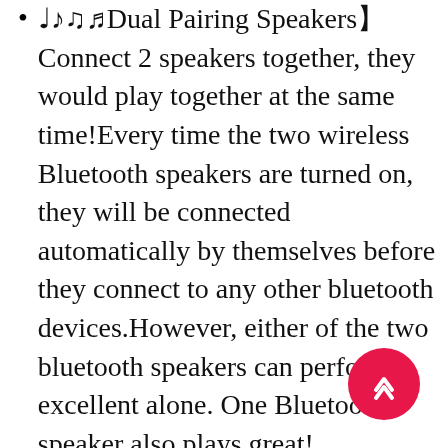♩♪♫♬Dual Pairing Speakers】Connect 2 speakers together, they would play together at the same time!Every time the two wireless Bluetooth speakers are turned on, they will be connected automatically by themselves before they connect to any other bluetooth devices.However, either of the two bluetooth speakers can perform excellent alone. One Bluetooth speaker also plays great!
♩♪♫♬IPX5 Waterproof】The MusiBaby portable bluetooth speakes is resistant to splash, rain, gentle spray, therefore it is applicable in shower room,by the pool or beach, and even in the rain.Do not put this speaker bluetooth directly into water.This waterproof bluetooth speaker is also a shower speaker! Also can be valentines day gifts for him!
♩♪♫♬Strong Bluetooth 5.0 signal】The bluetooth speaker can connect normally under difficult conditions and the signal is not disturbed.Antenna design with Bluetooth 5.0 and the range is enhanced. More stable...